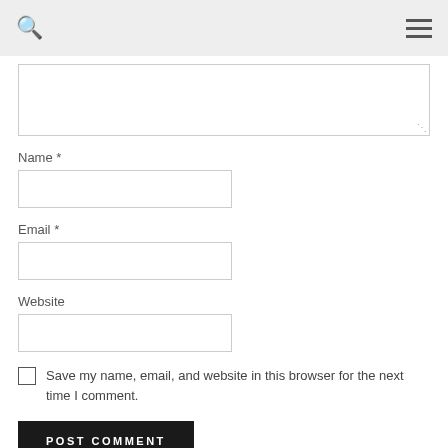[Comment textarea]
Name *
Email *
Website
Save my name, email, and website in this browser for the next time I comment.
POST COMMENT
This site uses Akismet to reduce spam. Learn how your comment